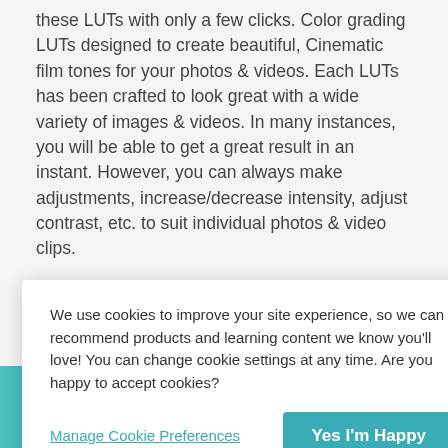these LUTs with only a few clicks. Color grading LUTs designed to create beautiful, Cinematic film tones for your photos & videos. Each LUTs has been crafted to look great with a wide variety of images & videos. In many instances, you will be able to get a great result in an instant. However, you can always make adjustments, increase/decrease intensity, adjust contrast, etc. to suit individual photos & video clips.
Are you tired of adding the same effects to your photos over and over? It would be nice if you could add unique
We use cookies to improve your site experience, so we can recommend products and learning content we know you'll love! You can change cookie settings at any time. Are you happy to accept cookies?
Manage Cookie Preferences
Yes I'm Happy
You can use it to color correct your videos/photos quickly and professionally.